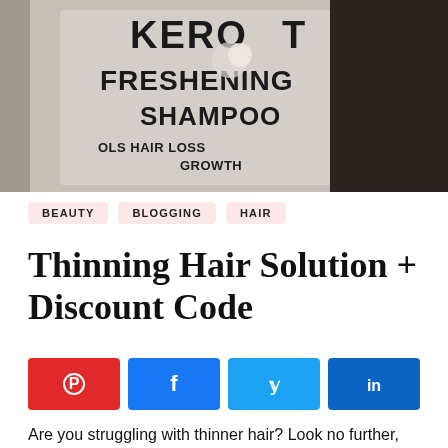[Figure (photo): Close-up photo of a Kerotin Freshening Shampoo bottle with text visible: KEROTIN, FRESHENING, SHAMPOO, CONTROLS HAIR LOSS, PROMOTES GROWTH. Dark background on right side.]
BEAUTY
BLOGGING
HAIR
Thinning Hair Solution + Discount Code
[Figure (infographic): Social share buttons row: Pinterest (red), Facebook (blue), Twitter (light blue), LinkedIn (dark blue)]
Are you struggling with thinner hair? Look no further, Kerotin Freshening Line; shampoo, conditioner & hair mask is your answer to thicker, stronger, fuller-looking hair. It's packed with biotin, keratin, sea kelp extract to